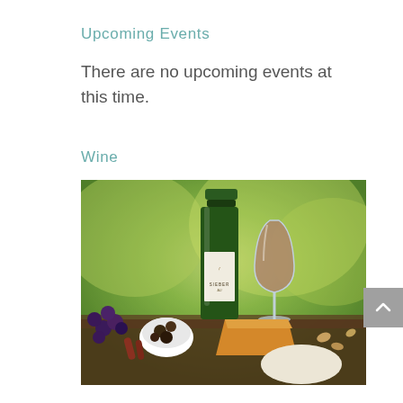Upcoming Events
There are no upcoming events at this time.
Wine
[Figure (photo): A bottle of Siebert wine next to a full glass of red wine, with a charcuterie board featuring cheese, grapes, olives in a small white dish, and other accompaniments. The background is a blurred green outdoor vineyard scene.]